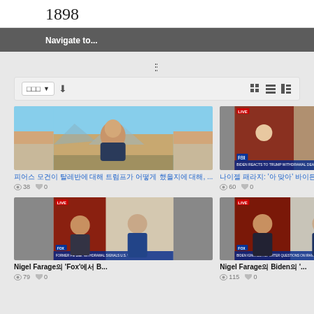1898
Navigate to...
[Figure (screenshot): Piers Morgan video thumbnail - man in suit with mountain background]
피어스 모건이 탈레반에 대해 트럼프가 어떻게 했을지에 대해, ... ♥ 38  ❤ 0
[Figure (screenshot): Fox News live broadcast thumbnail - female host and Nigel Farage]
나이젤 패라지: '아 맞아' 바이든 대통령, Biden ... ♥ 60  ❤ 0
[Figure (screenshot): Fox News live - Nigel Farage and Biden split screen]
Nigel Farage의 'Fox'에서 B... ♥ 79  ❤ 0
[Figure (screenshot): Fox News live - Nigel Farage and Biden in room]
Nigel Farage의 Biden의 '... ♥ 115  ❤ 0